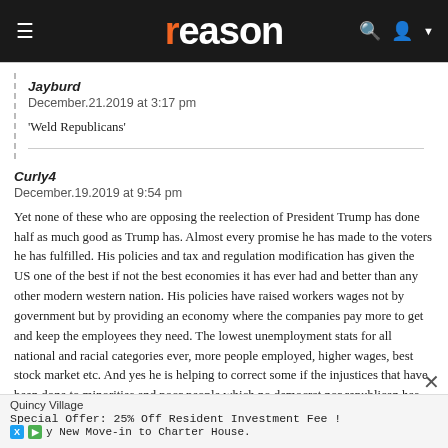reason
Jayburd
December.21.2019 at 3:17 pm

'Weld Republicans'
Curly4
December.19.2019 at 9:54 pm

Yet none of these who are opposing the reelection of President Trump has done half as much good as Trump has. Almost every promise he has made to the voters he has fulfilled. His policies and tax and regulation modification has given the US one of the best if not the best economies it has ever had and better than any other modern western nation. His policies have raised workers wages not by government but by providing an economy where the companies pay more to get and keep the employees they need. The lowest unemployment stats for all national and racial categories ever, more people employed, higher wages, best stock market etc. And yes he is helping to correct some if the injustices that have been done to minorities and poor people which no democrat nor republican has done before.
Quincy Village
Special Offer: 25% Off Resident Investment Fee !
y New Move-in to Charter House.